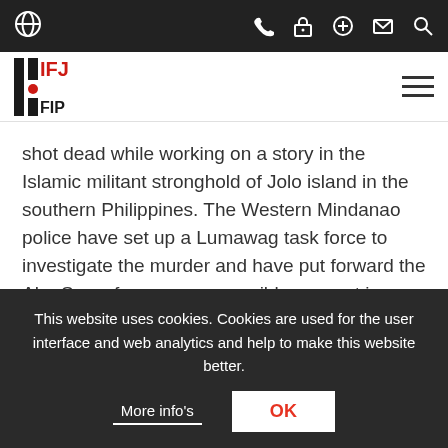IFJ website top navigation bar with globe, phone, lock, plus, mail, and search icons
[Figure (logo): IFJ logo — red and black stacked letters forming FIP/IFJ/UIF acronym]
shot dead while working on a story in the Islamic militant stronghold of Jolo island in the southern Philippines. The Western Mindanao police have set up a Lumawag task force to investigate the murder and have put forward the Abu Sayyaf group as a possible suspect in connection to the murder
This website uses cookies. Cookies are used for the user interface and web analytics and help to make this website better.